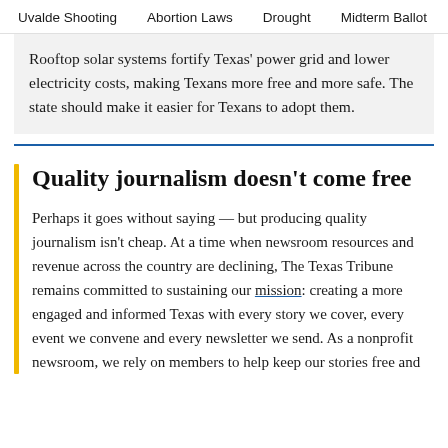Uvalde Shooting   Abortion Laws   Drought   Midterm Ballot
Rooftop solar systems fortify Texas' power grid and lower electricity costs, making Texans more free and more safe. The state should make it easier for Texans to adopt them.
Quality journalism doesn't come free
Perhaps it goes without saying — but producing quality journalism isn't cheap. At a time when newsroom resources and revenue across the country are declining, The Texas Tribune remains committed to sustaining our mission: creating a more engaged and informed Texas with every story we cover, every event we convene and every newsletter we send. As a nonprofit newsroom, we rely on members to help keep our stories free and